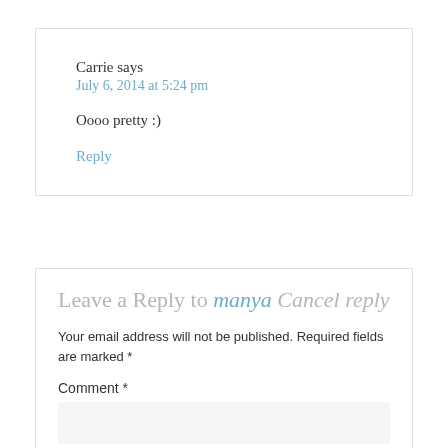Carrie says
July 6, 2014 at 5:24 pm
Oooo pretty :)
Reply
Leave a Reply to manya Cancel reply
Your email address will not be published. Required fields are marked *
Comment *